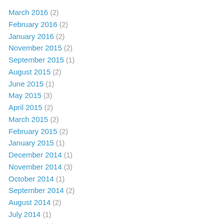March 2016 (2)
February 2016 (2)
January 2016 (2)
November 2015 (2)
September 2015 (1)
August 2015 (2)
June 2015 (1)
May 2015 (3)
April 2015 (2)
March 2015 (2)
February 2015 (2)
January 2015 (1)
December 2014 (1)
November 2014 (3)
October 2014 (1)
September 2014 (2)
August 2014 (2)
July 2014 (1)
June 2014 (2)
May 2014 (2)